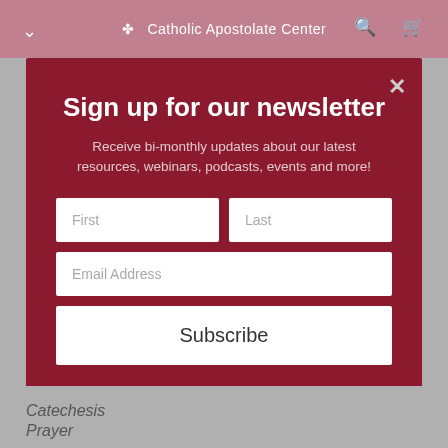Catholic Apostolate Center
Sign up for our newsletter
Receive bi-monthly updates about our latest resources, webinars, podcasts, events and more!
First
Last
Email Address
Subscribe
Catechesis
Prayer